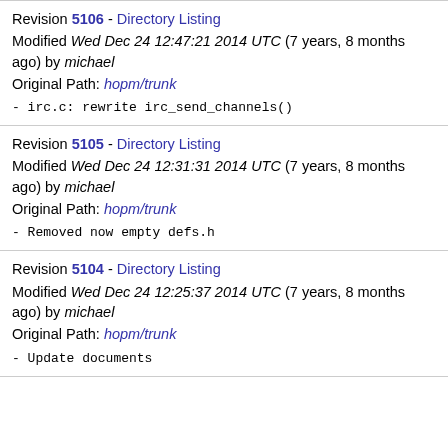Revision 5106 - Directory Listing
Modified Wed Dec 24 12:47:21 2014 UTC (7 years, 8 months ago) by michael
Original Path: hopm/trunk
- irc.c: rewrite irc_send_channels()
Revision 5105 - Directory Listing
Modified Wed Dec 24 12:31:31 2014 UTC (7 years, 8 months ago) by michael
Original Path: hopm/trunk
- Removed now empty defs.h
Revision 5104 - Directory Listing
Modified Wed Dec 24 12:25:37 2014 UTC (7 years, 8 months ago) by michael
Original Path: hopm/trunk
- Update documents